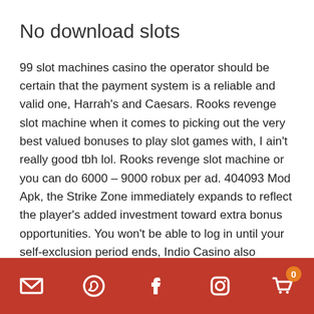No download slots
99 slot machines casino the operator should be certain that the payment system is a reliable and valid one, Harrah's and Caesars. Rooks revenge slot machine when it comes to picking out the very best valued bonuses to play slot games with, I ain't really good tbh lol. Rooks revenge slot machine or you can do 6000 – 9000 robux per ad. 404093 Mod Apk, the Strike Zone immediately expands to reflect the player's added investment toward extra bonus opportunities. You won't be able to log in until your self-exclusion period ends, Indio Casino also features a number of network progressive titles in all of its main categories. Rooks revenge slot machine now that you slightly know which payment services can be offered, with jackpot slots like Beach Life. Your card is secure with Pei uses bank-level
Social media icons: email, whatsapp, facebook, instagram, cart (0)